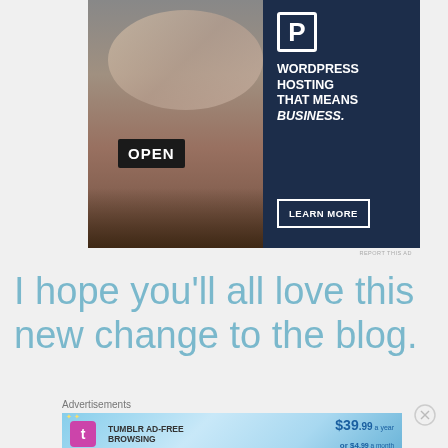[Figure (photo): WordPress hosting advertisement banner with photo of a woman holding an OPEN sign, dark navy blue right panel with text WORDPRESS HOSTING THAT MEANS BUSINESS. and a LEARN MORE button]
REPORT THIS AD
I hope you'll all love this new change to the blog.
Advertisements
[Figure (advertisement): Tumblr Ad-Free Browsing advertisement banner showing $39.99 a year or $4.99 a month pricing with Tumblr logo]